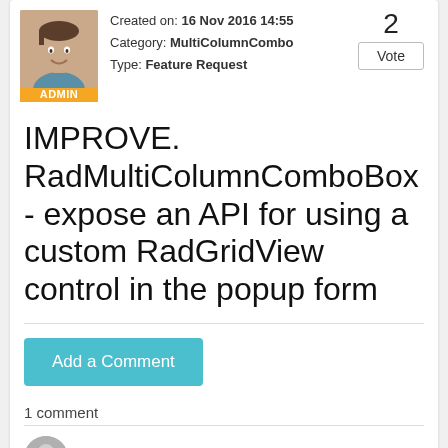Created on: 16 Nov 2016 14:55
Category: MultiColumnCombo
Type: Feature Request
2
Vote
[Figure (photo): Avatar photo of a smiling young man with ADMIN badge below]
IMPROVE. RadMultiColumnComboBox - expose an API for using a custom RadGridView control in the popup form
Add a Comment
1 comment